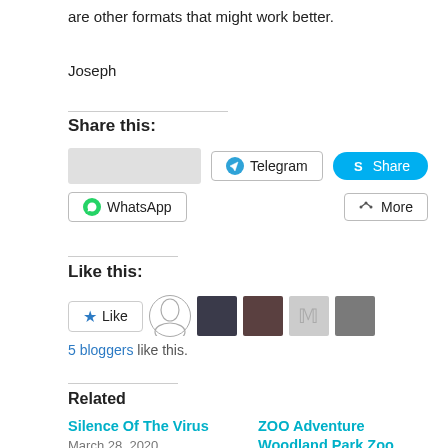are other formats that might work better.
Joseph
Share this:
[Figure (screenshot): Share buttons: placeholder image, Telegram button, Skype Share button, WhatsApp button, More button]
Like this:
[Figure (screenshot): Like button with star icon, followed by 5 blogger avatar thumbnails]
5 bloggers like this.
Related
Silence Of The Virus
March 28, 2020
In "Thoughts and Ideas"
ZOO Adventure Woodland Park Zoo
May 5, 2019
In "Thoughts and Ideas"